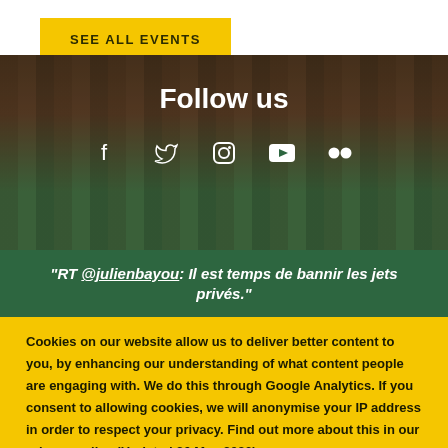SEE ALL EVENTS
[Figure (illustration): Blurred background photo showing a building with wooden/brick architecture and green foreground, with Follow us text and social media icons (Facebook, Twitter, Instagram, YouTube, Flickr)]
“RT @julienbayou: Il est temps de bannir les jets privés.”
Cookies on our website allow us to deliver better content to you, by enhancing our understanding of what content people are engaging with. We do this through Google Analytics. If you consent to allowing cookies, we will anonymise your IP address in order to respect your privacy. Find out more about this in our privacy policy (Updated 26 May 2020).